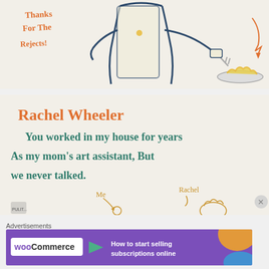[Figure (illustration): Hand-drawn comic illustration showing a figure in a white coat serving food on a plate with a fork. Orange handwritten text reads 'Thanks for the rejects!' with an arrow pointing down toward a plate of yellow food items.]
[Figure (illustration): Comic panel with handwritten text 'Rachel Wheeler - You worked in my house for years as my mom's art assistant, but we never talked.' Below are small stick figure sketches labeled 'Me' and 'Rachel' with a building icon and a Pulitzer Prize logo in the corner.]
Advertisements
[Figure (screenshot): WooCommerce advertisement banner with purple background. WooCommerce logo (white text in box) with green arrow/triangle, and text 'How to start selling subscriptions online' with orange blob decoration.]